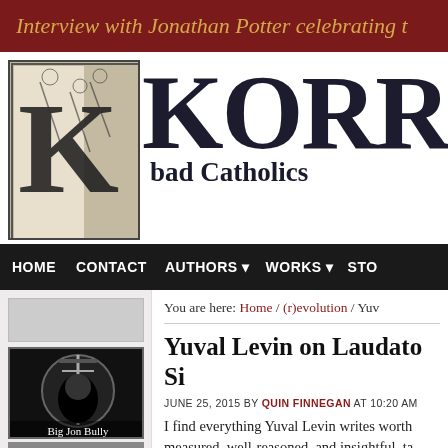Interview with Jonathan Potter celebrating t
[Figure (logo): Korrektiv website logo with decorative medieval K initial and woodcut illustration of figures]
KORREKTIV - bad Catholics
HOME   CONTACT   AUTHORS ▼   WORKS ▼   STO
You are here: Home / (r)evolution / Yuv
Yuval Levin on Laudato Si
JUNE 25, 2015 BY QUIN FINNEGAN AT 10:20 AM
I find everything Yuval Levin writes worth reading: measured, well-reasoned, and insightful, ta contentious political issues. He is easily o